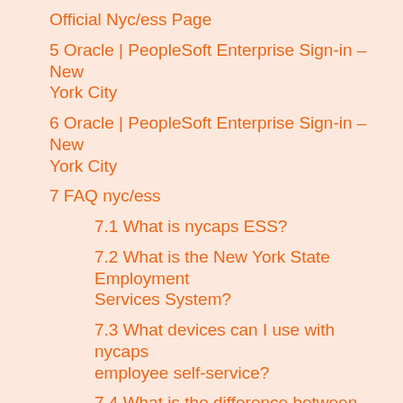Official Nyc/ess Page
5 Oracle | PeopleSoft Enterprise Sign-in – New York City
6 Oracle | PeopleSoft Enterprise Sign-in – New York City
7 FAQ nyc/ess
7.1 What is nycaps ESS?
7.2 What is the New York State Employment Services System?
7.3 What devices can I use with nycaps employee self-service?
7.4 What is the difference between ESS portal and ESS system?
8 The Goldbelly Show: Live from Ess-a-Bagel in